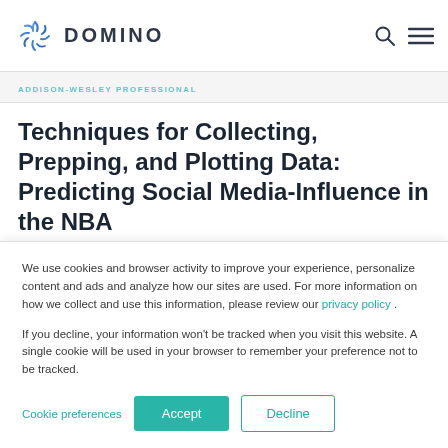DOMINO
ADDISON-WESLEY PROFESSIONAL
Techniques for Collecting, Prepping, and Plotting Data: Predicting Social Media-Influence in the NBA
We use cookies and browser activity to improve your experience, personalize content and ads and analyze how our sites are used. For more information on how we collect and use this information, please review our privacy policy .
If you decline, your information won’t be tracked when you visit this website. A single cookie will be used in your browser to remember your preference not to be tracked.
Cookie preferences  Accept  Decline